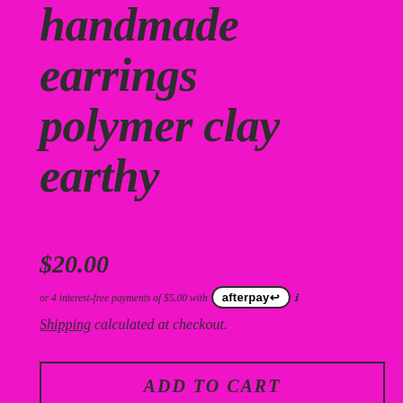handmade earrings polymer clay earthy
$20.00
or 4 interest-free payments of $5.00 with afterpay ℹ
Shipping calculated at checkout.
ADD TO CART
This listing is for 1 pair of earrings, some others